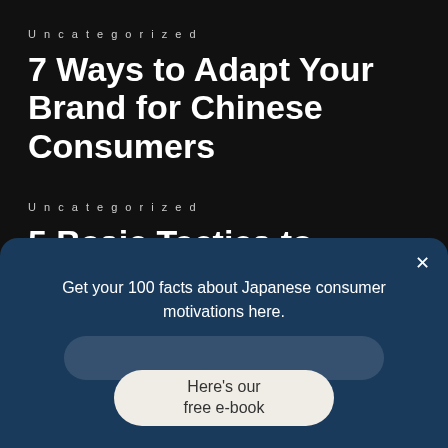Uncategorized
7 Ways to Adapt Your Brand for Chinese Consumers
Uncategorized
5 Basic Tactics to Promote Beauty Brands in China on WeChat
Get your 100 facts about Japanese consumer motivations here.
Here's our free e-book